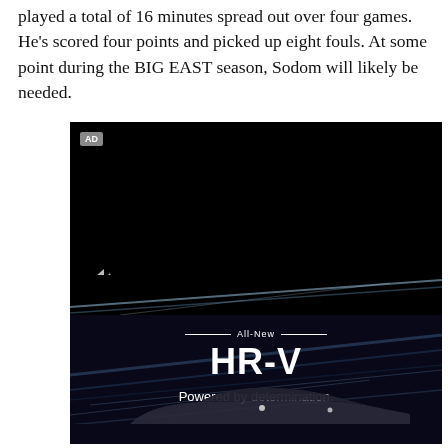played a total of 16 minutes spread out over four games. He's scored four points and picked up eight fouls. At some point during the BIG EAST season, Sodom will likely be needed.
[Figure (other): Embedded video player showing a dark/black screen with an AD badge in the top-left corner and a speaker/volume icon in the bottom-left. Below the player is a Honda HR-V advertisement with text 'All-New HR-V Powered by determination.' over a dark background with motion-blur streaks and partial view of the car.]